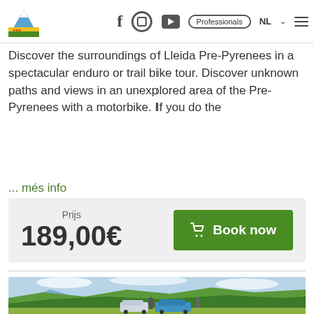Pirinous Catalonia — NL — Professionals — [navigation icons]
Discover the surroundings of Lleida Pre-Pyrenees in a spectacular enduro or trail bike tour. Discover unknown paths and views in an unexplored area of the Pre-Pyrenees with a motorbike. If you do the
... més info
| Prijs |  |
| --- | --- |
| 189,00€ | Book now |
[Figure (photo): Outdoor mountain landscape with green forested hills and vehicles (possibly jeeps/vans) in the foreground under a partly cloudy sky]